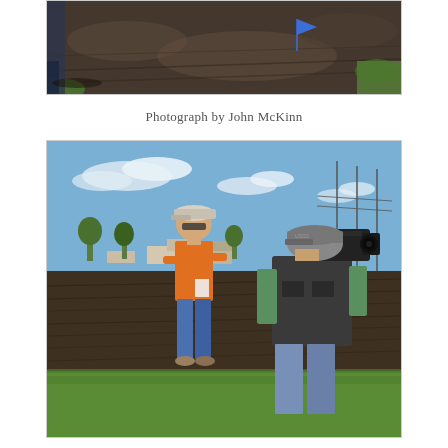[Figure (photo): Aerial/close-up view of dark farm field soil with a small blue flag marker and green vegetation visible at edges; a person's feet/legs visible at left edge]
Photograph by John McKinn
[Figure (photo): Outdoor farm field scene: person in orange shirt and white cap stands in a grassy area facing a cameraman wearing a dark vest and gray cap who is filming them; a large dark plowed field and rural buildings visible in background under blue sky]